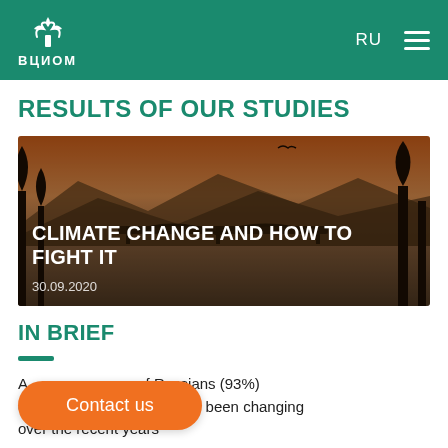VCIOM | RU
RESULTS OF OUR STUDIES
[Figure (photo): A bridge over a river at dusk/sunset with mountains in the background and silhouetted trees. Overlay text reads: CLIMATE CHANGE AND HOW TO FIGHT IT, dated 30.09.2020]
IN BRIEF
A substantial share of Russians (93%) confirm that the climate has been changing over the recent years